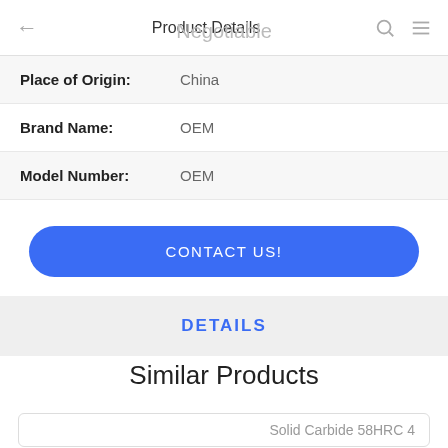Product Details
Negotiable
| Field | Value |
| --- | --- |
| Place of Origin: | China |
| Brand Name: | OEM |
| Model Number: | OEM |
CONTACT US!
DETAILS
Similar Products
Solid Carbide 58HRC 4